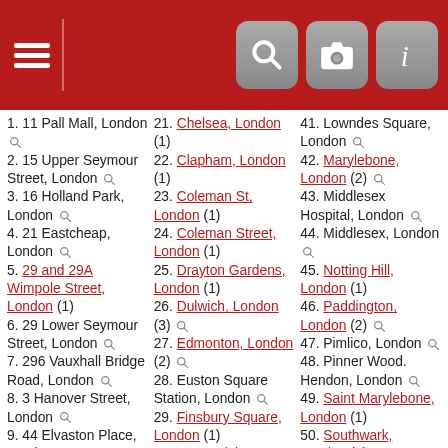Navigation header with hamburger menu and icons
1. 11 Pall Mall, London
2. 15 Upper Seymour Street, London
3. 16 Holland Park, London
4. 21 Eastcheap, London
5. 29 and 29A Wimpole Street, London (1)
6. 29 Lower Seymour Street, London
7. 296 Vauxhall Bridge Road, London
8. 3 Hanover Street, London
9. 44 Elvaston Place, London
10. 48 Onslow Gardens, London
11. 6 Middlesex
21. Chelsea, London (1)
22. Clapham, London (1)
23. Coleman St, London (1)
24. Coleman Street, London (1)
25. Drayton Gardens, London (1)
26. Dulwich, London (3)
27. Edmonton, London (2)
28. Euston Square Station, London
29. Finsbury Square, London (1)
30. Greenwich, London (1)
31. Hackney, London (2)
32. Hampstead, London (2)
41. Lowndes Square, London
42. Marylebone, London (2)
43. Middlesex Hospital, London
44. Middlesex, London
45. Notting Hill, London (1)
46. Paddington, London (2)
47. Pimlico, London
48. Pinner Wood. Hendon, London
49. Saint Marylebone, London (1)
50. Southwark, London (1)
51. St Bartholemew the Great, London
52. St George Hanover Square,